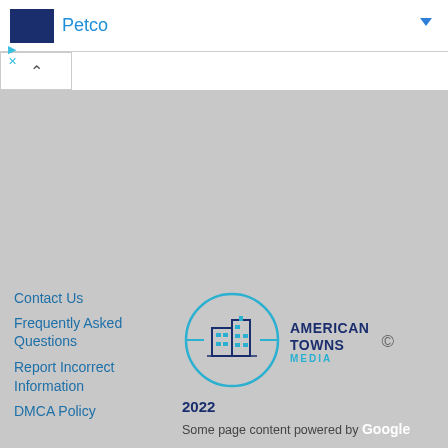[Figure (logo): Petco advertisement bar with dark blue logo block and 'Petco' text in blue, play and close icons, blue dropdown arrow]
[Figure (other): Gray map area with collapse button showing caret up]
Contact Us
Frequently Asked Questions
Report Incorrect Information
DMCA Policy
[Figure (logo): American Towns Media circular logo with stylized town buildings, teal circle, crosshair lines]
2022
Some page content powered by Google
Terms and Conditions of Use | Privacy Policy | Contact Us